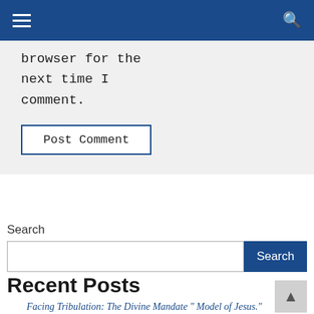Navigation bar with hamburger menu and search icon
browser for the next time I comment.
Post Comment
Search
Recent Posts
Facing Tribulation: The Divine Mandate " Model of Jesus."
THE ART AND ACT OF THANKSGIVING